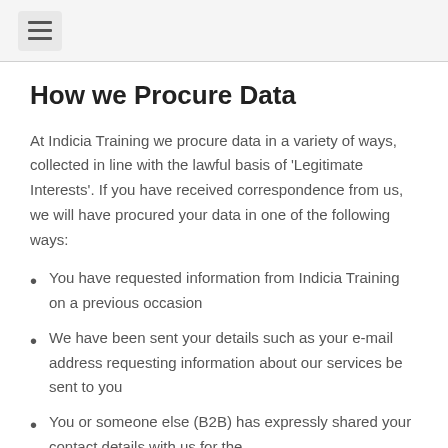≡
How we Procure Data
At Indicia Training we procure data in a variety of ways, collected in line with the lawful basis of 'Legitimate Interests'. If you have received correspondence from us, we will have procured your data in one of the following ways:
You have requested information from Indicia Training on a previous occasion
We have been sent your details such as your e-mail address requesting information about our services be sent to you
You or someone else (B2B) has expressly shared your contact details with us for the